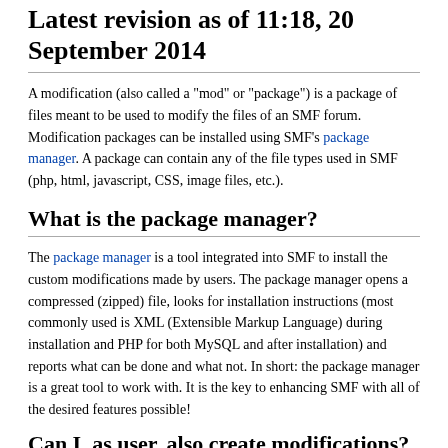Latest revision as of 11:18, 20 September 2014
A modification (also called a "mod" or "package") is a package of files meant to be used to modify the files of an SMF forum. Modification packages can be installed using SMF's package manager. A package can contain any of the file types used in SMF (php, html, javascript, CSS, image files, etc.).
What is the package manager?
The package manager is a tool integrated into SMF to install the custom modifications made by users. The package manager opens a compressed (zipped) file, looks for installation instructions (most commonly used is XML (Extensible Markup Language) during installation and PHP for both MySQL and after installation) and reports what can be done and what not. In short: the package manager is a great tool to work with. It is the key to enhancing SMF with all of the desired features possible!
Can I, as user, also create modifications?
Of course! You, as a user, can look at the ways of creating a